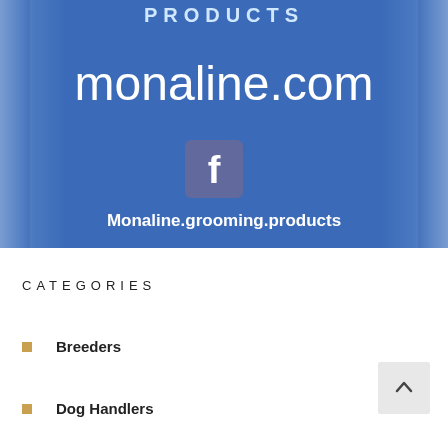[Figure (photo): Blue advertisement banner for Monaline grooming products website showing 'PRODUCTS' text at top, 'monaline.com' in large white text, a Facebook logo icon, and 'Monaline.grooming.products' text below it.]
CATEGORIES
Breeders
Dog Handlers